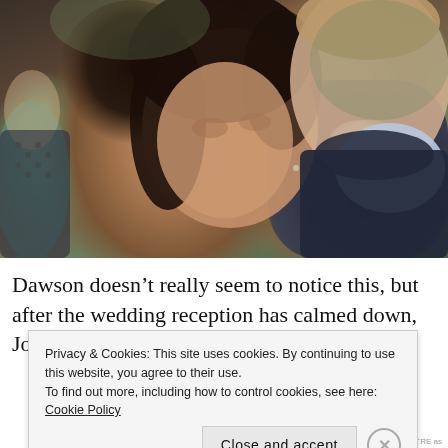[Figure (photo): Close-up photo of a young woman with dark hair looking down toward a man in a dark suit with a light blue shirt collar. A third person is partially visible on the left edge. Background is blurred outdoor greenery.]
Dawson doesn't really seem to notice this, but after the wedding reception has calmed down, Joey finds
Privacy & Cookies: This site uses cookies. By continuing to use this website, you agree to their use.
To find out more, including how to control cookies, see here: Cookie Policy
Close and accept